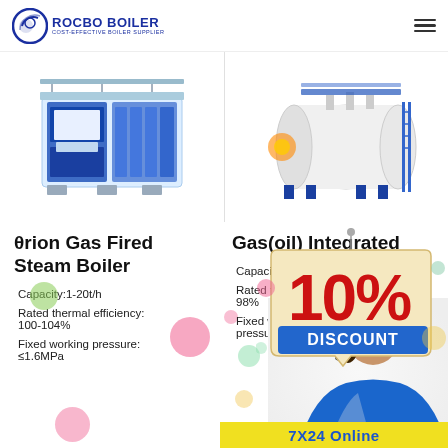[Figure (logo): ROCBO BOILER logo with crescent/circle icon and tagline COST-EFFECTIVE BOILER SUPPLIER]
[Figure (photo): Blue and white industrial modular steam boiler unit (left product image)]
[Figure (photo): White cylindrical horizontal gas/oil fired steam boiler with blue frame (right product image)]
θrion Gas Fired Steam Boiler
Capacity:1-20t/h
Rated thermal efficiency: 100-104%
Fixed working pressure: ≤1.6MPa
Gas(oil) Integrated
Capacity:0.7
Rated thermal efficiency: 98%
Fixed working pressure:≤1.25MPa
[Figure (infographic): 10% DISCOUNT promotional banner overlaid on right column]
[Figure (photo): Customer service representative with headset (partially visible)]
7X24 Online